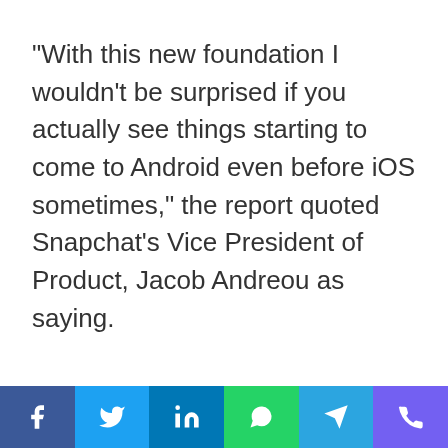“With this new foundation I wouldn’t be surprised if you actually see things starting to come to Android even before iOS sometimes,” the report quoted Snapchat's Vice President of Product, Jacob Andreou as saying.
[Figure (other): Social sharing bar with six buttons: Facebook (blue), Twitter (light blue), LinkedIn (dark blue), WhatsApp (green), Telegram (cyan-blue), Viber (purple). Each button shows a white icon on a colored background.]